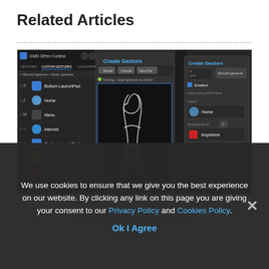Related Articles
[Figure (screenshot): Three Android app screenshots showing GMD SPen Control app: gesture list panel, create gesture drawing panel, and gesture settings panel with APKgalaxy.Com watermark]
Applications   05/01/2014   No Comments
GMD SPen Control + root v5.5.1 Apk
We use cookies to ensure that we give you the best experience on our website. By clicking any link on this page you are giving your consent to our Privacy Policy and Cookies Policy.
Ok I Agree